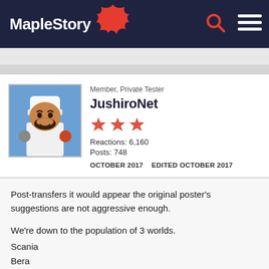MapleStory
Member, Private Tester
JushiroNet
Reactions: 6,160
Posts: 748
OCTOBER 2017  EDITED OCTOBER 2017
Post-transfers it would appear the original poster's suggestions are not aggressive enough.

We're down to the population of 3 worlds.
Scania
Bera
"the rest"

obviously reboot is it's own thing, as is luna.